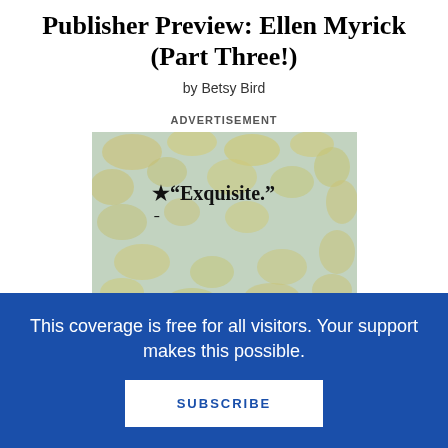Publisher Preview: Ellen Myrick (Part Three!)
by Betsy Bird
ADVERTISEMENT
[Figure (illustration): Advertisement image with a mottled blue and yellow textured background containing two review quotes: a star followed by 'Exquisite.' attributed to BOOKLIST (STARRED REVIEW), and a star followed by 'A loving tribute.' attributed to KIRKUS (STARRED REVIEW).]
This coverage is free for all visitors. Your support makes this possible.
SUBSCRIBE